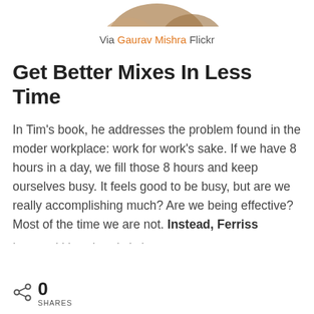[Figure (illustration): Partial decorative image at top, showing curved brown/tan shapes against white background]
Via Gaurav Mishra Flickr
Get Better Mixes In Less Time
In Tim’s book, he addresses the problem found in the moder workplace: work for work’s sake. If we have 8 hours in a day, we fill those 8 hours and keep ourselves busy. It feels good to be busy, but are we really accomplishing much? Are we being effective? Most of the time we are not. Instead, Ferriss …
0 SHARES